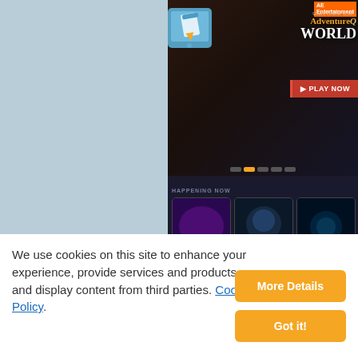[Figure (screenshot): Artix Entertainment game website screenshot showing AdventureQuest Worlds banner with dragon art, PLAY NOW button, tablet icon, Happening Now section with game thumbnails (AdventureQuest Worlds, EpicDuel), and Community News section with New Artix Games! headline]
We use cookies on this site to enhance your experience, provide services and products, and display content from third parties. Cookie Policy.
More Details
Got it!